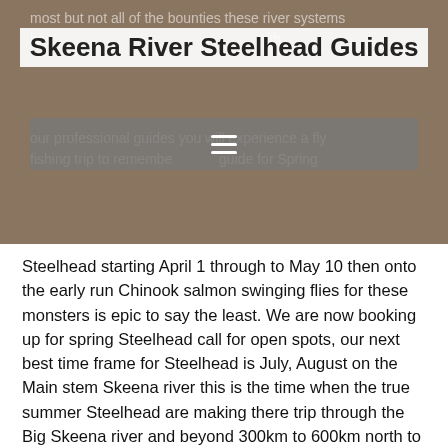most but not all of the bounties these river systems have to offer. Fly fishing trips with
Skeena River Steelhead Guides
our professional guides you will experience a fly fishing trip to remember. guide for Spring Steelhead starting April 1 through to May 10 then onto the early run Chinook salmon swinging flies for these monsters is epic to say the least. We are now booking up for spring Steelhead call for open spots, our next best time frame for Steelhead is July, August on the Main stem Skeena river this is the time when the true summer Steelhead are making there trip through the Big Skeena river and beyond 300km to 600km north to all other destinations we like to catch them when we are at there mercy! Fresh shinny pissed off Steelhead with no where else to go but back to the Ocean when they feel the prick from your swung fly.